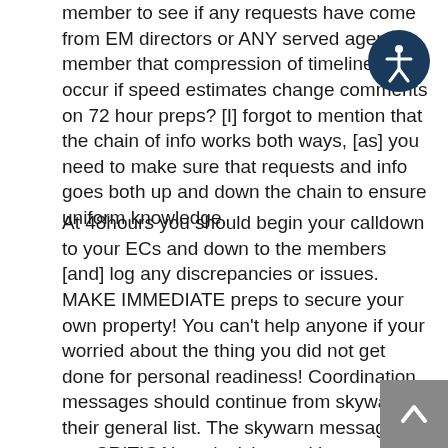member to see if any requests have come from EM directors or ANY served agency member that compression of timeline can occur if speed estimates change comments on 72 hour preps? [I] forgot to mention that the chain of info works both ways, [as] you need to make sure that requests and info goes both up and down the chain to ensure uniform knowledge.
At 48hours you should begin your calldown to your ECs and down to the members [and] log any discrepancies or issues. MAKE IMMEDIATE preps to secure your own property! You can't help anyone if your worried about the thing you did not get done for personal readiness! Coordination messages should continue from skywarn to their general list. The skywarn messages are CRITICAL to decision making.
We will go on to 36 hours. [You should] begin the] second call down to ARES EC and the membership lists. You may find that...